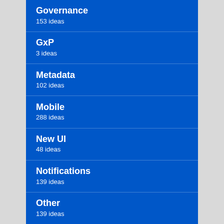Governance
153 ideas
GxP
3 ideas
Metadata
102 ideas
Mobile
288 ideas
New UI
48 ideas
Notifications
139 ideas
Other
139 ideas